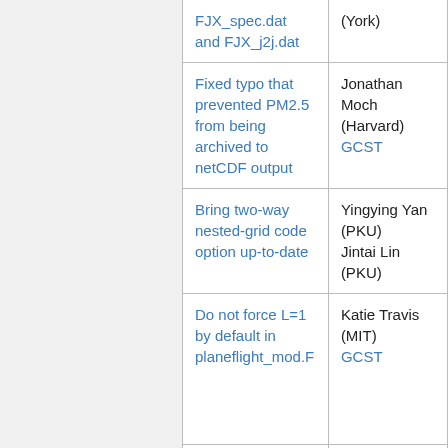| Description | Contributor |
| --- | --- |
| FJX_spec.dat and FJX_j2j.dat | (York) |
| Fixed typo that prevented PM2.5 from being archived to netCDF output | Jonathan Moch (Harvard)
GCST |
| Bring two-way nested-grid code option up-to-date | Yingying Yan (PKU)
Jintai Lin (PKU) |
| Do not force L=1 by default in planeflight_mod.F | Katie Travis (MIT)
GCST |
| Add PH2O2 to the default list of prod/loss... | GCST |